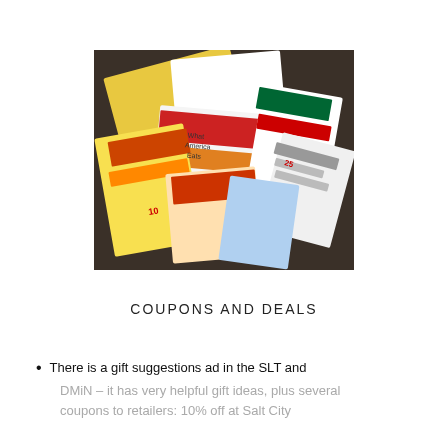[Figure (photo): A pile of coupon booklets, newspaper inserts, and advertising flyers spread out on a dark surface, showing various retail and grocery store deals and promotions.]
COUPONS AND DEALS
There is a gift suggestions ad in the SLT and DMiN – it has very helpful gift ideas, plus several coupons to retailers: 10% off at Salt City